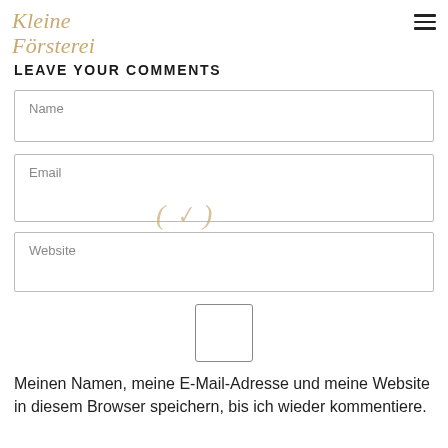Kleine Försterei
LEAVE YOUR COMMENTS
Name
Email
Website
[Figure (other): Checkbox input element, unchecked]
Meinen Namen, meine E-Mail-Adresse und meine Website in diesem Browser speichern, bis ich wieder kommentiere.